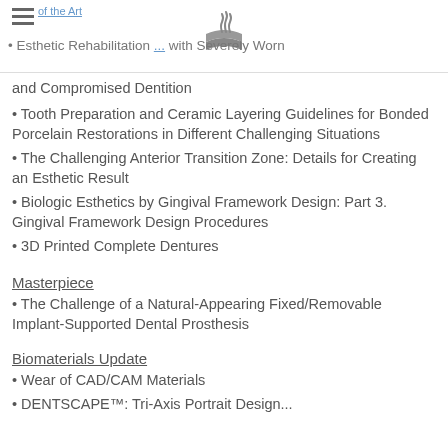≡  [logo]  • Esthetic Rehabilitation ... with Severely Worn
and Compromised Dentition
• Tooth Preparation and Ceramic Layering Guidelines for Bonded Porcelain Restorations in Different Challenging Situations
• The Challenging Anterior Transition Zone: Details for Creating an Esthetic Result
• Biologic Esthetics by Gingival Framework Design: Part 3. Gingival Framework Design Procedures
• 3D Printed Complete Dentures
Masterpiece
• The Challenge of a Natural-Appearing Fixed/Removable Implant-Supported Dental Prosthesis
Biomaterials Update
• Wear of CAD/CAM Materials
• DENTSCAPE™: Tri-Axis Portrait Design...